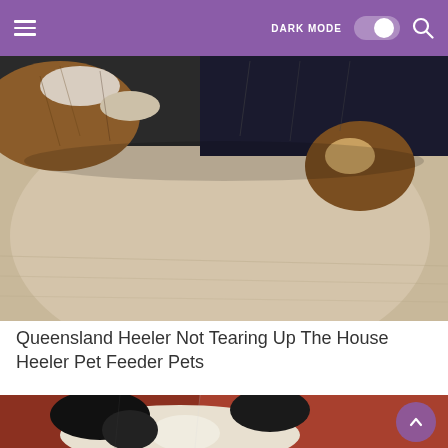DARK MODE  [toggle]  🔍
[Figure (photo): Close-up photo of a dog (Queensland Heeler / Australian Cattle Dog) with tricolor fur — brown, black and white patches — resting its paws on a light beige surface. The dog's paws and lower body are visible against a cushion or fabric.]
Queensland Heeler Not Tearing Up The House Heeler Pet Feeder Pets
[Figure (photo): Partial close-up photo of a black and white dog's face/head resting on a reddish-brown surface, viewed from above. Ears and top of head visible.]